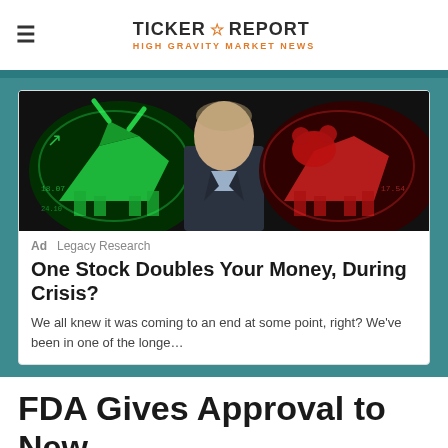TICKER ☆ REPORT | HIGH GRAVITY MARKET NEWS
[Figure (photo): A man in a dark suit standing in front of a green glowing bull figure on the left and a red glowing bear figure on the right, dark background with stock market graphics]
Ad  Legacy Research
One Stock Doubles Your Money, During Crisis?
We all knew it was coming to an end at some point, right? We've been in one of the longe…
FDA Gives Approval to New Powerful Enzyme Drug...